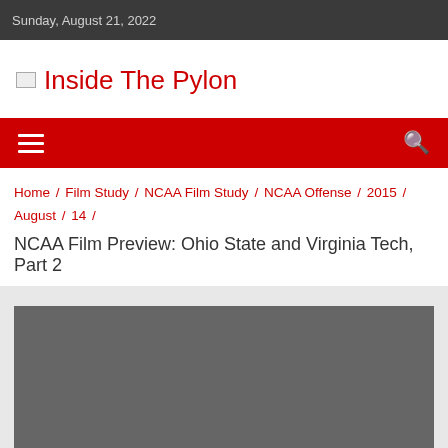Sunday, August 21, 2022
Inside The Pylon
≡  🔍
Home / Film Study / NCAA Film Study / NCAA Offense / 2015 / August / 14 /
NCAA Film Preview: Ohio State and Virginia Tech, Part 2
[Figure (photo): Dark grey placeholder image area for article content]